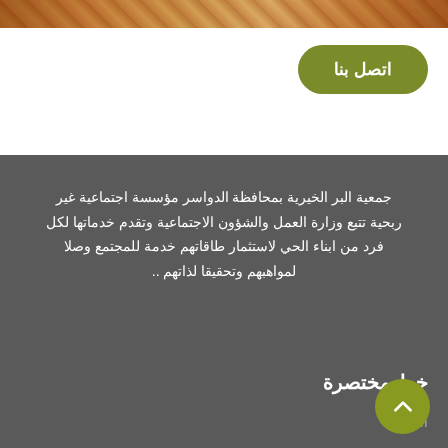[Figure (photo): Decorative image strip at the top showing a person and ornamental background patterns in warm brown and orange tones]
اتصل بنا
جمعية البر الخيرية بمحافظة الدواسر مؤسسة اجتماعية غير ربحية تتبع وزارة العمل والشؤون الاجتماعية وتقدم خدماتها لكل فرد من ابناء الحي لاستثمار طاقاتهم خدمة للمجتمع وصلا لمواهبهم وتحقيقا لذاتهم ..
خط مختصرة
الرئيسية